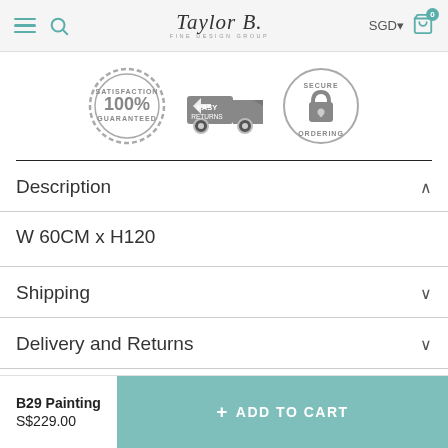Taylor B. Fine Design Group — SGD 0 cart
[Figure (infographic): Three trust badge icons: 100% Satisfaction Guaranteed seal, Easy Returns truck icon, Secure Ordering padlock seal]
Description
W 60CM x H120
Shipping
Delivery and Returns
B29 Painting S$229.00
+ ADD TO CART